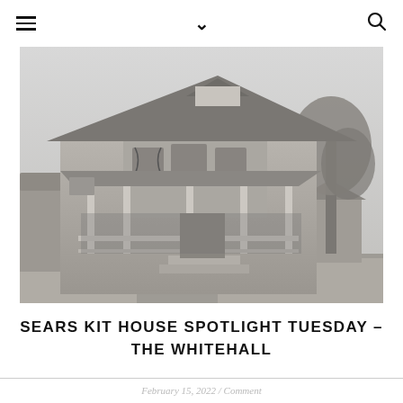≡  ∨  🔍
[Figure (photo): Black and white photograph of a two-story Sears kit house (The Whitehall) with a wide front porch, decorative columns, bay windows on the second floor, and trees visible on the right side.]
SEARS KIT HOUSE SPOTLIGHT TUESDAY – THE WHITEHALL
February 15, 2022 / Comment